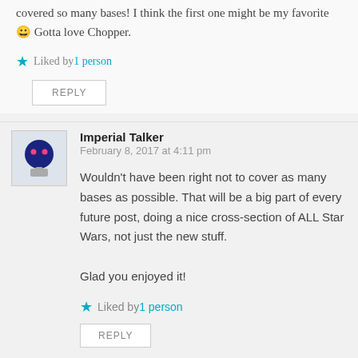covered so many bases! I think the first one might be my favorite 😀 Gotta love Chopper.
★ Liked by 1 person
REPLY
Imperial Talker
February 8, 2017 at 4:11 pm
Wouldn't have been right not to cover as many bases as possible. That will be a big part of every future post, doing a nice cross-section of ALL Star Wars, not just the new stuff.

Glad you enjoyed it!
★ Liked by 1 person
REPLY